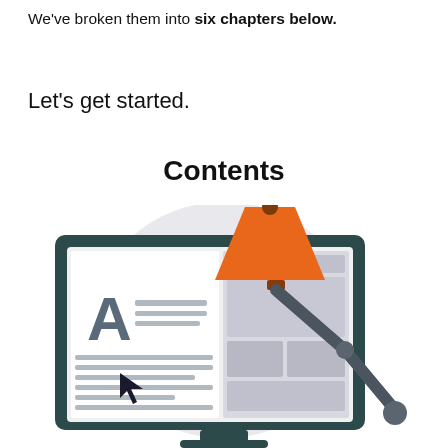We've broken them into six chapters below.
Let's get started.
Contents
[Figure (illustration): Illustration of a desktop computer monitor displaying a document with a large letter A and a cursor arrow, alongside an orange desk lamp with a dark articulated arm, set against a light grey circular background.]